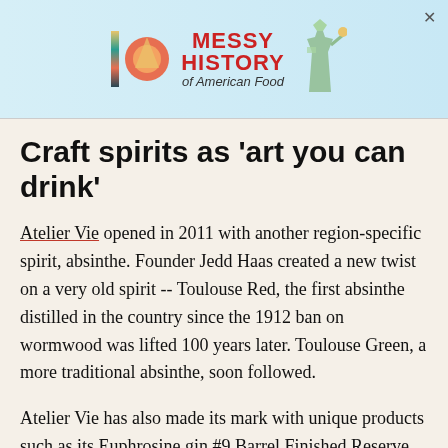[Figure (other): Advertisement banner for 'Messy History of American Food' with colorful logo, Statue of Liberty graphic, on light blue background. Close X in top right.]
Craft spirits as 'art you can drink'
Atelier Vie opened in 2011 with another region-specific spirit, absinthe. Founder Jedd Haas created a new twist on a very old spirit -- Toulouse Red, the first absinthe distilled in the country since the 1912 ban on wormwood was lifted 100 years later. Toulouse Green, a more traditional absinthe, soon followed.
Atelier Vie has also made its mark with unique products such as its Euphrosine gin #9 Barrel Finished Reserve and Orphan Street brandy, the first barrel-aged grape brandy made in Louisiana since Prohibition (if not longer). The limited-batch